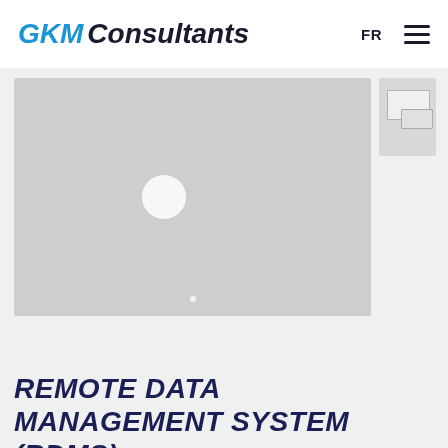GKM Consultants  FR ☰
[Figure (screenshot): A video player placeholder showing a large grey rectangle with a white circular play button in the center and a small dot indicator at the bottom. To the right is a small thumbnail image showing a schematic/engineering diagram.]
REMOTE DATA MANAGEMENT SYSTEM (RDMS)